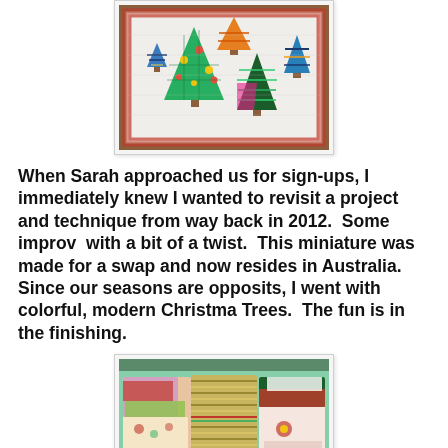[Figure (photo): A framed quilt miniature showing colorful modern Christmas trees (triangles) in various patterns and colors on a white background with red plaid border, displayed against a wooden door.]
When Sarah approached us for sign-ups, I immediately knew I wanted to revisit a project and technique from way back in 2012.  Some improv  with a bit of a twist.  This miniature was made for a swap and now resides in Australia.  Since our seasons are opposits, I went with colorful, modern Christma Trees.  The fun is in the finishing.
[Figure (photo): A drawer or shelf filled with folded Christmas-themed fabrics in red, green, and gold patterns.]